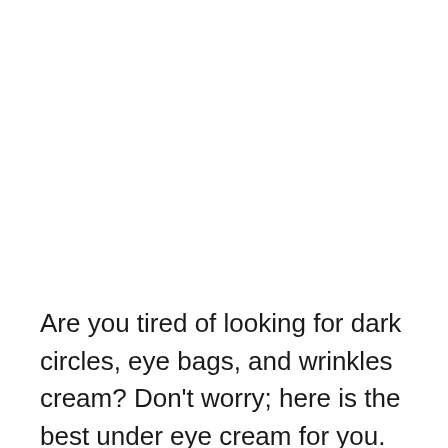Are you tired of looking for dark circles, eye bags, and wrinkles cream? Don't worry; here is the best under eye cream for you. The Organys Spark Rejuvenating Eye Cream minimizes the